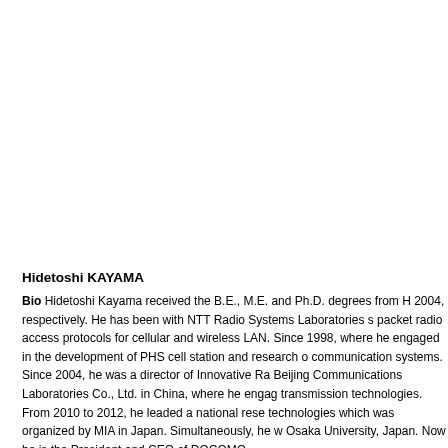Hidetoshi KAYAMA
Bio Hidetoshi Kayama received the B.E., M.E. and Ph.D. degrees from H 2004, respectively. He has been with NTT Radio Systems Laboratories s packet radio access protocols for cellular and wireless LAN. Since 1998, where he engaged in the development of PHS cell station and research o communication systems. Since 2004, he was a director of Innovative Ra Beijing Communications Laboratories Co., Ltd. in China, where he engag transmission technologies. From 2010 to 2012, he leaded a national rese technologies which was organized by MIA in Japan. Simultaneously, he w Osaka University, Japan. Now he is the President and CEO of DOCOMO